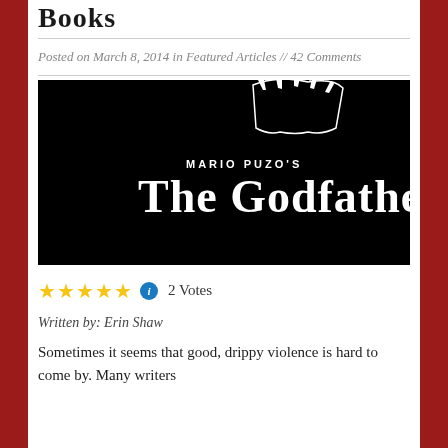Books
Posted on March 8, 2014 in Featured Articles // 42 Comments
[Figure (illustration): The Godfather book/film logo on black background. Text reads 'MARIO PUZO'S The Godfather' with puppet strings imagery above.]
★★★★★ ⓘ 2 Votes
Written by: Erin Shaw
Sometimes it seems that good, drippy violence is hard to come by. Many writers